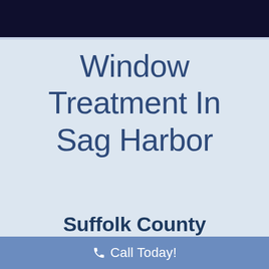Window Treatment In Sag Harbor
Suffolk County
Call Today!